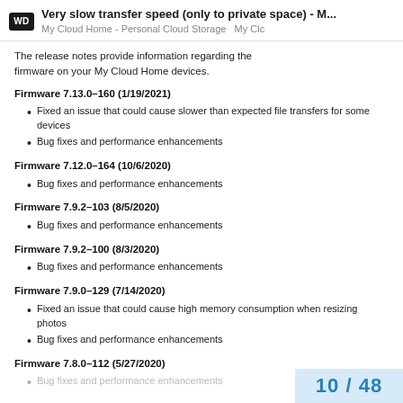Very slow transfer speed (only to private space) - M... | My Cloud Home - Personal Cloud Storage  My Clc
The release notes provide information regarding the firmware on your My Cloud Home devices.
Firmware 7.13.0-160 (1/19/2021)
Fixed an issue that could cause slower than expected file transfers for some devices
Bug fixes and performance enhancements
Firmware 7.12.0-164 (10/6/2020)
Bug fixes and performance enhancements
Firmware 7.9.2-103 (8/5/2020)
Bug fixes and performance enhancements
Firmware 7.9.2-100 (8/3/2020)
Bug fixes and performance enhancements
Firmware 7.9.0-129 (7/14/2020)
Fixed an issue that could cause high memory consumption when resizing photos
Bug fixes and performance enhancements
Firmware 7.8.0-112 (5/27/2020)
10 / 48